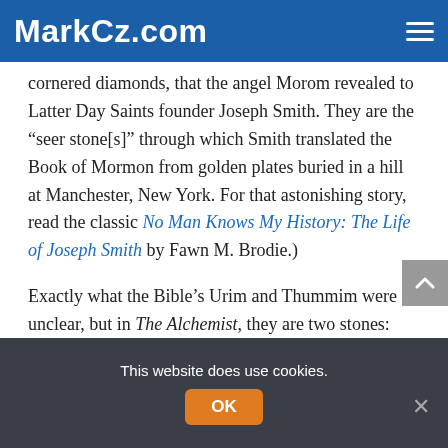MarkCz.com
cornered diamonds, that the angel Morom revealed to Latter Day Saints founder Joseph Smith. They are the “seer stone[s]” through which Smith translated the Book of Mormon from golden plates buried in a hill at Manchester, New York. For that astonishing story, read the classic No Man Knows My History: The Life of Joseph Smith by Fawn M. Brodie.)
Exactly what the Bible’s Urim and Thummim were is unclear, but in The Alchemist, they are two stones: “The black signifies ‘yes,’ and the white ‘no.’” King Melchizedek gives them to Santiago.
This website does use cookies.